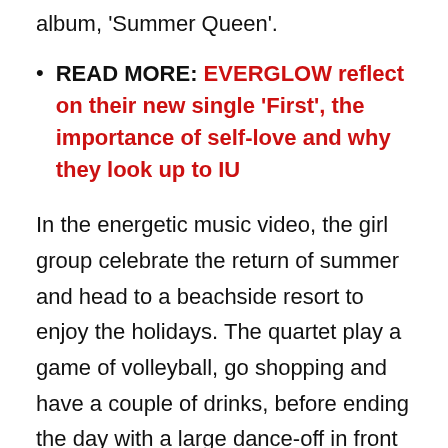album, 'Summer Queen'.
READ MORE: EVERGLOW reflect on their new single 'First', the importance of self-love and why they look up to IU
In the energetic music video, the girl group celebrate the return of summer and head to a beachside resort to enjoy the holidays. The quartet play a game of volleyball, go shopping and have a couple of drinks, before ending the day with a large dance-off in front of the sunset.
“The wind is blowing to me now / The love is coming to me, yeah, yeah/ The sun is shining here so bright / It’s a beautiful starry summer night, yeah.” Brave